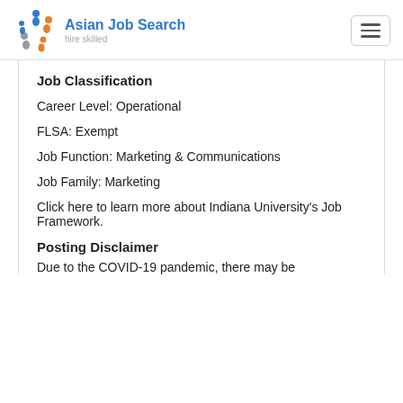[Figure (logo): Asian Job Search logo with colorful figures and text 'Asian Job Search hire skilled']
Job Classification
Career Level: Operational
FLSA: Exempt
Job Function: Marketing & Communications
Job Family: Marketing
Click here to learn more about Indiana University's Job Framework.
Posting Disclaimer
Due to the COVID-19 pandemic, there may be